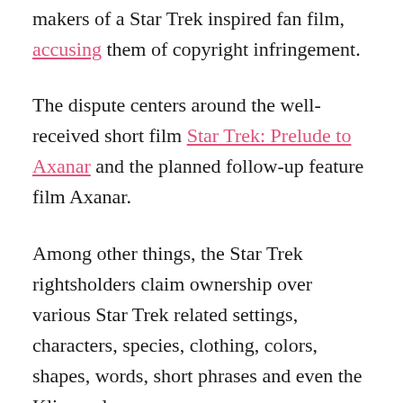makers of a Star Trek inspired fan film, accusing them of copyright infringement.
The dispute centers around the well-received short film Star Trek: Prelude to Axanar and the planned follow-up feature film Axanar.
Among other things, the Star Trek rightsholders claim ownership over various Star Trek related settings, characters, species, clothing, colors, shapes, words, short phrases and even the Klingon language.
A few months after the complaint was filed it appeared that the movie studios and the Axanar team had found a way to resolve their issues. During